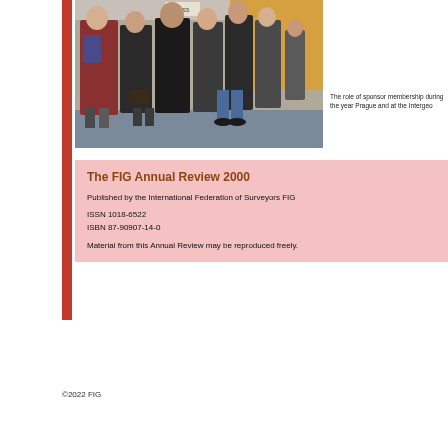[Figure (photo): Crowd of people at a trade show or exhibition hall, some carrying bags and briefcases, with exhibition booths visible in the background.]
The role of sponsor membership during the year Prague and at the Intergeo
The FIG Annual Review 2000
Published by the International Federation of Surveyors FIG
ISSN 1018-6522
ISBN 87-90907-14-0
Material from this Annual Review may be reproduced freely.
©2022 FIG